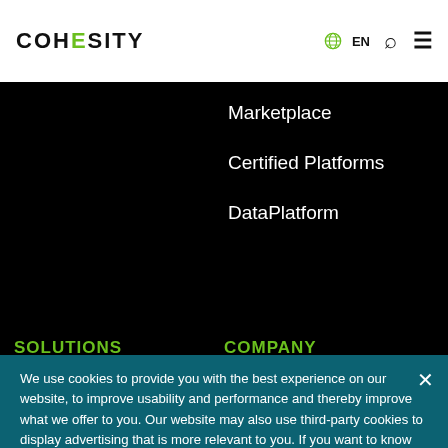COHESITY
Marketplace
Certified Platforms
DataPlatform
SOLUTIONS
COMPANY
We use cookies to provide you with the best experience on our website, to improve usability and performance and thereby improve what we offer to you. Our website may also use third-party cookies to display advertising that is more relevant to you. If you want to know more about how we use cookies, please see our Privacy Policy.
Cookies Settings
Accept Cookies